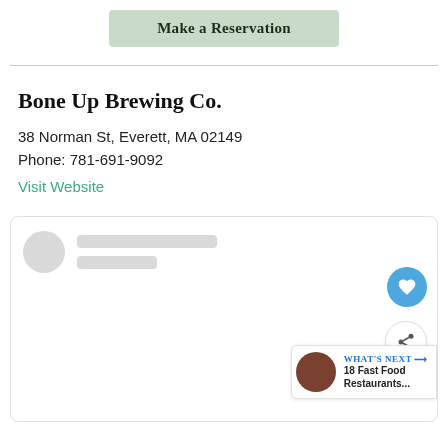[Figure (screenshot): Green 'Make a Reservation' button]
Bone Up Brewing Co.
38 Norman St, Everett, MA 02149
Phone: 781-691-9092
Visit Website
[Figure (screenshot): Social card loading placeholder with avatar circle, loading lines, heart FAB button, share FAB button, and 'What's Next' promo bar showing '18 Fast Food Restaurants...']